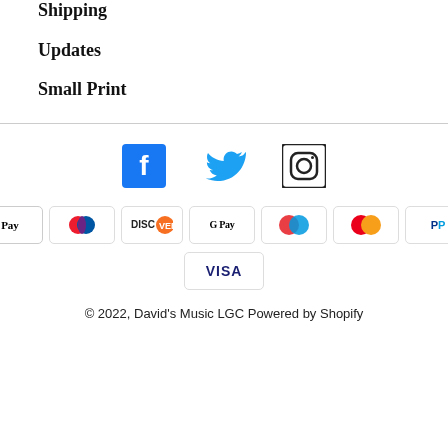Shipping
Updates
Small Print
[Figure (other): Social media icons: Facebook, Twitter, Instagram]
[Figure (other): Payment method icons: American Express, Apple Pay, Diners Club, Discover, Google Pay, Maestro, Mastercard, PayPal, Shop Pay, Visa]
© 2022, David's Music LGC Powered by Shopify